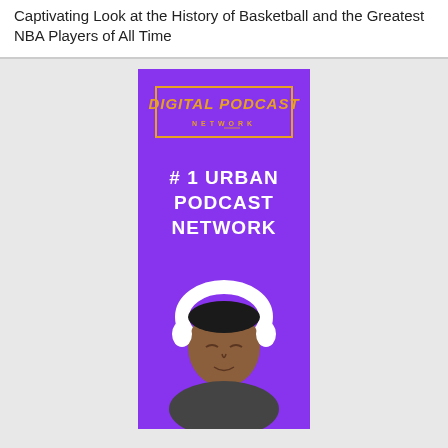Captivating Look at the History of Basketball and the Greatest NBA Players of All Time
[Figure (illustration): Digital Podcast Network advertisement banner with purple background, orange logo at top reading 'DIGITAL PODCAST NETWORK', white bold text '# 1 URBAN PODCAST NETWORK', and a man wearing white headphones at the bottom]